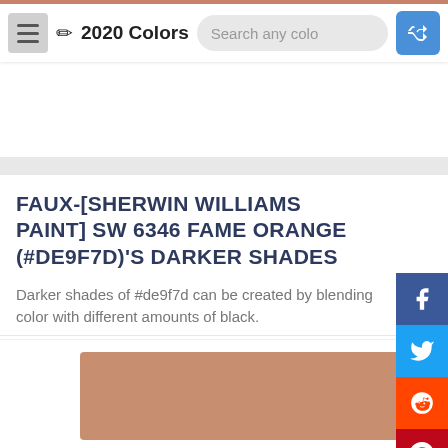2020 Colors — Search any color — navigation bar with hamburger, pencil icon, search field, and shuffle button
FAUX-[SHERWIN WILLIAMS PAINT] SW 6346 FAME ORANGE (#DE9F7D)'S DARKER SHADES
Darker shades of #de9f7d can be created by blending color with different amounts of black.
[Figure (other): Color swatch rectangle showing color #C78F70 (a medium tan/brown shade)]
#C78F70